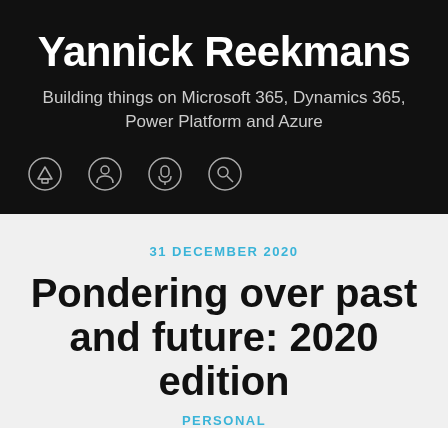Yannick Reekmans
Building things on Microsoft 365, Dynamics 365, Power Platform and Azure
[Figure (other): Navigation icon bar with four circular icons: home, person, microphone, search]
31 DECEMBER 2020
Pondering over past and future: 2020 edition
PERSONAL